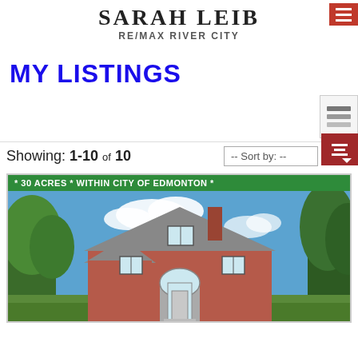SARAH LEIB
RE/MAX RIVER CITY
MY LISTINGS
Showing: 1-10 of 10
-- Sort by: --
[Figure (photo): Red brick house with trees and blue sky, banner reading '* 30 ACRES * WITHIN CITY OF EDMONTON *']
* 30 ACRES * WITHIN CITY OF EDMONTON *